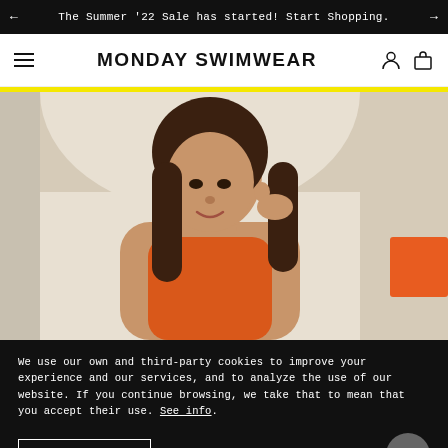← The Summer '22 Sale has started! Start Shopping. →
MONDAY SWIMWEAR
[Figure (photo): A young woman with long brown hair wearing an orange swimsuit, posing with one hand near her hair, against a light architectural background. An orange swimwear piece is partially visible on the right side.]
We use our own and third-party cookies to improve your experience and our services, and to analyze the use of our website. If you continue browsing, we take that to mean that you accept their use. See info.
Accept